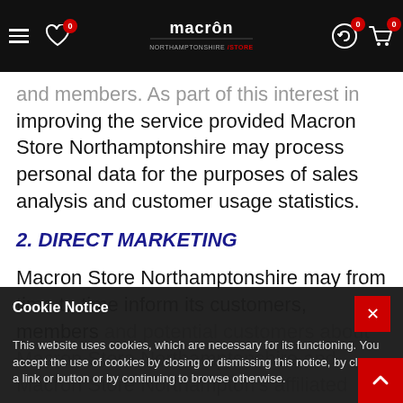Macron Store Northamptonshire - Navigation bar
and members. As part of this interest in improving the service provided Macron Store Northamptonshire may process personal data for the purposes of sales analysis and customer usage statistics.
2. DIRECT MARKETING
Macron Store Northamptonshire may from time to time inform its customers, members and potential customers about Macron Store Northamptonshire and Macron Store Northampton's affiliated partners and services and other information Macron
Cookie Notice
This website uses cookies, which are necessary for its functioning. You accept the use of cookies by closing or dismissing this notice, by clicking a link or button or by continuing to browse otherwise.